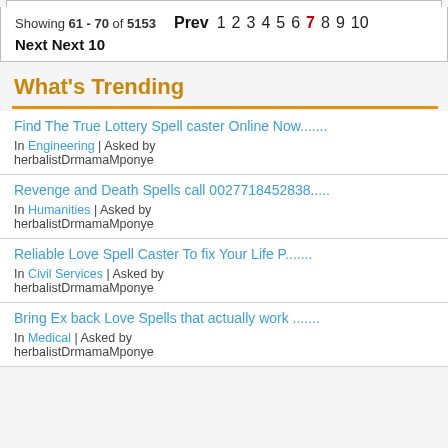Showing 61 - 70 of 5153   Prev 1 2 3 4 5 6 7 8 9 10
Next Next 10
What's Trending
Find The True Lottery Spell caster Online Now.......
In Engineering | Asked by herbalistDrmamaMponye
Revenge and Death Spells call 0027718452838.....
In Humanities | Asked by herbalistDrmamaMponye
Reliable Love Spell Caster To fix Your Life P.......
In Civil Services | Asked by herbalistDrmamaMponye
Bring Ex back Love Spells that actually work .......
In Medical | Asked by herbalistDrmamaMponye